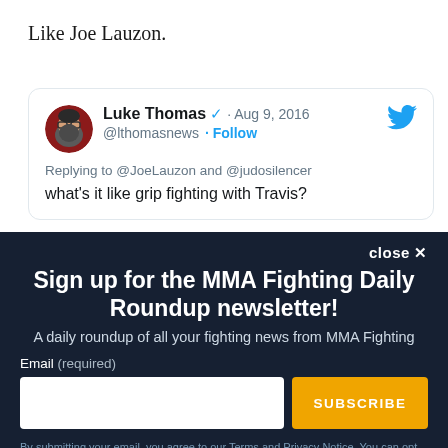Like Joe Lauzon.
[Figure (screenshot): Tweet from Luke Thomas (@lthomasnews) dated Aug 9, 2016. Replying to @JoeLauzon and @judosilencer: 'what's it like grip fighting with Travis?']
Sign up for the MMA Fighting Daily Roundup newsletter!
A daily roundup of all your fighting news from MMA Fighting
Email (required)
SUBSCRIBE
By submitting your email, you agree to our Terms and Privacy Notice. You can opt out at any time. This site is protected by reCAPTCHA and the Google Privacy Policy and Terms of Service apply.